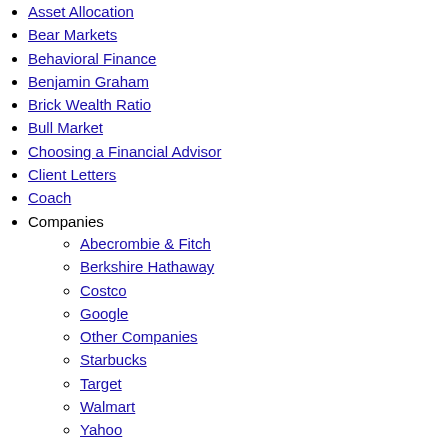Asset Allocation
Bear Markets
Behavioral Finance
Benjamin Graham
Brick Wealth Ratio
Bull Market
Choosing a Financial Advisor
Client Letters
Coach
Companies
Abecrombie & Fitch
Berkshire Hathaway
Costco
Google
Other Companies
Starbucks
Target
Walmart
Yahoo
eBay
DCF
Deficit/Surplus
Economy
Efficient Markets
Fear
Fraud
Free Cash Flow
Frugality
GM
Greater Good
In Defense of Frugal
Investing
Jim Cramer